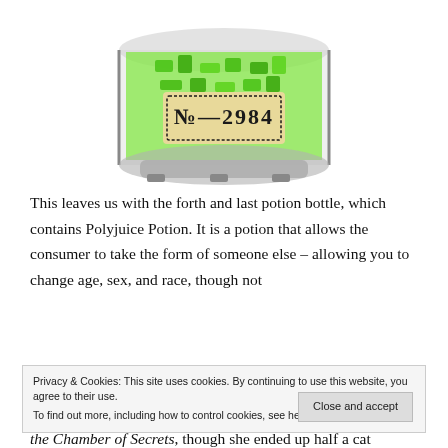[Figure (photo): A transparent cylindrical LEGO potion bottle filled with green translucent pieces, with a label reading 'No.—2984' in decorative black border on a beige background.]
This leaves us with the forth and last potion bottle, which contains Polyjuice Potion. It is a potion that allows the consumer to take the form of someone else – allowing you to change age, sex, and race, though not
Privacy & Cookies: This site uses cookies. By continuing to use this website, you agree to their use.
To find out more, including how to control cookies, see here: Privacy Policy
Close and accept
the Chamber of Secrets, though she ended up half a cat